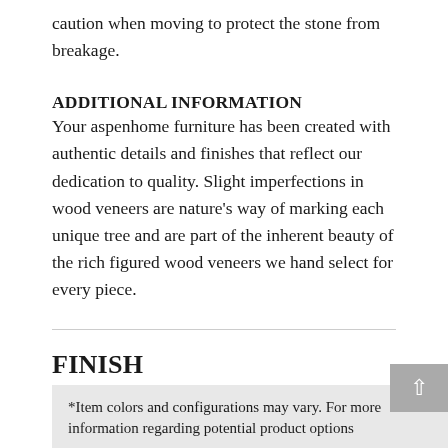caution when moving to protect the stone from breakage.
ADDITIONAL INFORMATION
Your aspenhome furniture has been created with authentic details and finishes that reflect our dedication to quality. Slight imperfections in wood veneers are nature's way of marking each unique tree and are part of the inherent beauty of the rich figured wood veneers we hand select for every piece.
FINISH
*Item colors and configurations may vary. For more information regarding potential product options...